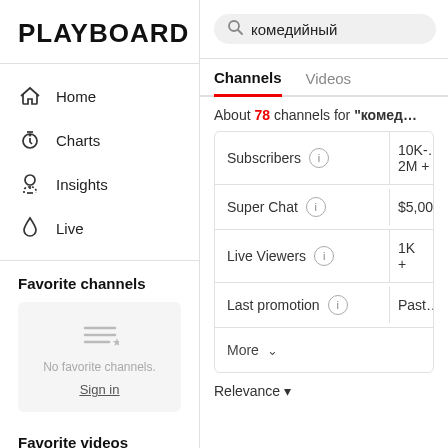PLAYBOARD
Home
Charts
Insights
Live
Favorite channels
No favorite channels.
Sign in
Favorite videos
комедийный
Channels  Videos
About 78 channels for "комед…
| Filter | Info | Value |
| --- | --- | --- |
| Subscribers | ⓘ | 10K-…
2M + |
| Super Chat | ⓘ | $5,00… |
| Live Viewers | ⓘ | 1K + |
| Last promotion | ⓘ | Past… |
| More | ∨ |  |
Relevance ▾